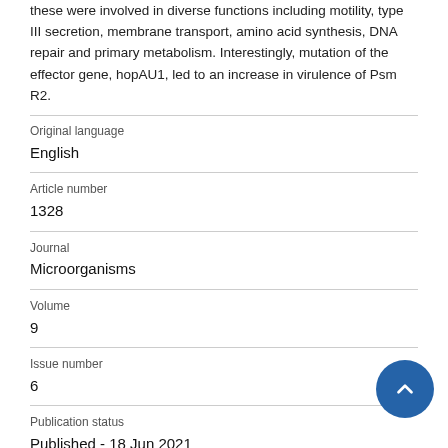these were involved in diverse functions including motility, type III secretion, membrane transport, amino acid synthesis, DNA repair and primary metabolism. Interestingly, mutation of the effector gene, hopAU1, led to an increase in virulence of Psm R2.
| Original language | English |
| Article number | 1328 |
| Journal | Microorganisms |
| Volume | 9 |
| Issue number | 6 |
| Publication status | Published - 18 Jun 2021 |